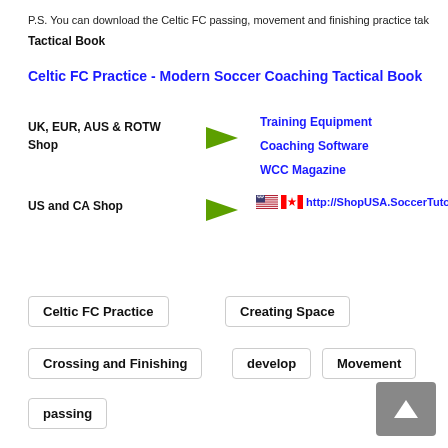P.S. You can download the Celtic FC passing, movement and finishing practice tak...
Tactical Book
Celtic FC Practice - Modern Soccer Coaching Tactical Book
UK, EUR, AUS & ROTW Shop
Training Equipment
Coaching Software
WCC Magazine
US and CA Shop
http://ShopUSA.SoccerTutor.c...
Celtic FC Practice
Creating Space
Crossing and Finishing
develop
Movement
passing